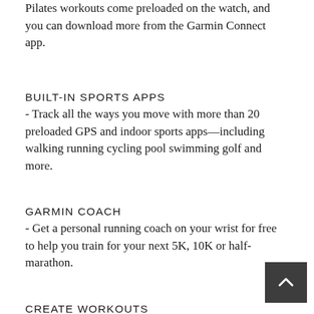Pilates workouts come preloaded on the watch, and you can download more from the Garmin Connect app.
BUILT-IN SPORTS APPS
- Track all the ways you move with more than 20 preloaded GPS and indoor sports apps—including walking running cycling pool swimming golf and more.
GARMIN COACH
- Get a personal running coach on your wrist for free to help you train for your next 5K, 10K or half-marathon.
CREATE WORKOUTS
- Build your own workouts in Garmin Connect and download them to the watch.
FITNESS TRACKING
[Figure (other): Back to top button — dark grey square with upward-pointing chevron arrow]